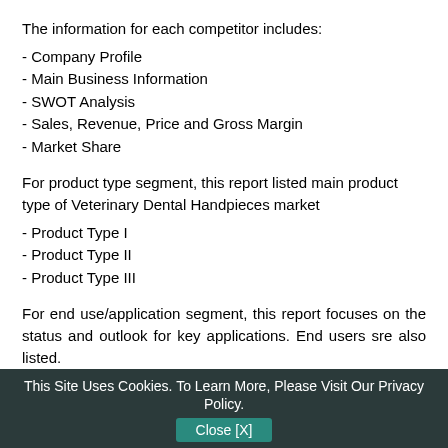The information for each competitor includes:
- Company Profile
- Main Business Information
- SWOT Analysis
- Sales, Revenue, Price and Gross Margin
- Market Share
For product type segment, this report listed main product type of Veterinary Dental Handpieces market
- Product Type I
- Product Type II
- Product Type III
For end use/application segment, this report focuses on the status and outlook for key applications. End users sre also listed.
- Application I
- Application II
This Site Uses Cookies. To Learn More, Please Visit Our Privacy Policy. Close [X]